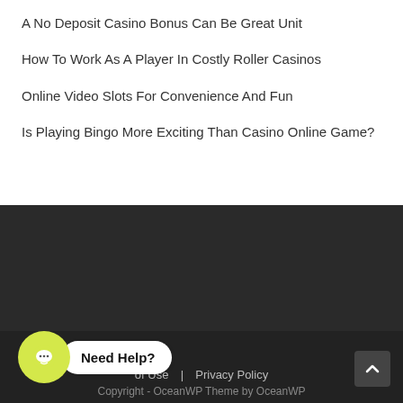A No Deposit Casino Bonus Can Be Great Unit
How To Work As A Player In Costly Roller Casinos
Online Video Slots For Convenience And Fun
Is Playing Bingo More Exciting Than Casino Online Game?
of Use | Privacy Policy
Copyright - OceanWP Theme by OceanWP